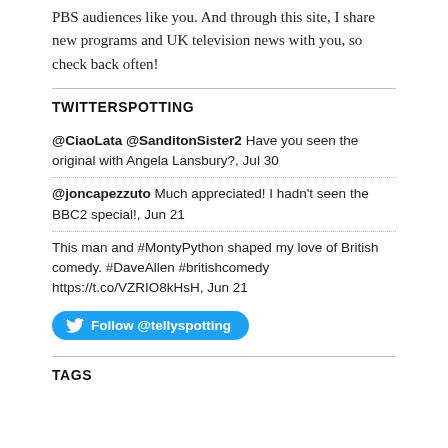PBS audiences like you. And through this site, I share new programs and UK television news with you, so check back often!
TWITTERSPOTTING
@CiaoLata @SanditonSister2 Have you seen the original with Angela Lansbury?, Jul 30
@joncapezzuto Much appreciated! I hadn't seen the BBC2 special!, Jun 21
This man and #MontyPython shaped my love of British comedy. #DaveAllen #britishcomedy https://t.co/VZRIO8kHsH, Jun 21
Follow @tellyspotting
TAGS